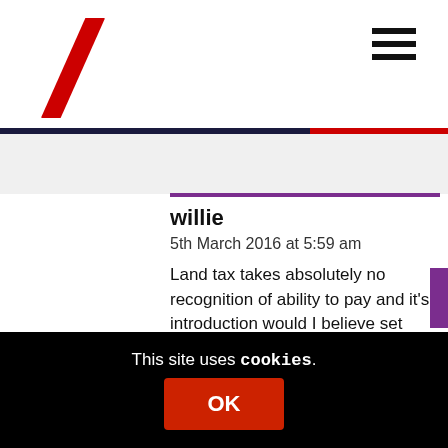[Figure (logo): Red diagonal slash logo in top-left corner]
[Figure (illustration): Hamburger menu icon (three horizontal bars) in top-right corner]
Reply
willie
5th March 2016 at 5:59 am
Land tax takes absolutely no recognition of ability to pay and it's introduction would I believe set back the cause of democratic socialism for generations. Yes there are big landowners but equally there are a lot of small landowners. Consider the pensioner with a largish garden
This site uses cookies.
OK